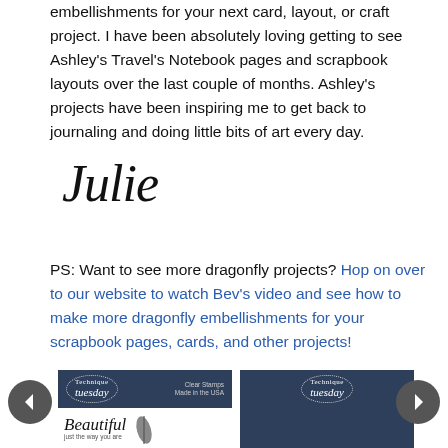embellishments for your next card, layout, or craft project. I have been absolutely loving getting to see Ashley's Travel's Notebook pages and scrapbook layouts over the last couple of months. Ashley's projects have been inspiring me to get back to journaling and doing little bits of art every day.
[Figure (illustration): Handwritten cursive signature reading 'Julie' in black ink on white background]
PS: Want to see more dragonfly projects? Hop on over to our website to watch Bev's video and see how to make more dragonfly embellishments for your scrapbook pages, cards, and other projects!
[Figure (screenshot): Carousel product display showing two Technique Tuesday Clear Stamps product cards with left and right navigation arrow buttons. Left card shows 'Beautiful just the way you are' with feather image, right card shows Technique Tuesday logo header only.]